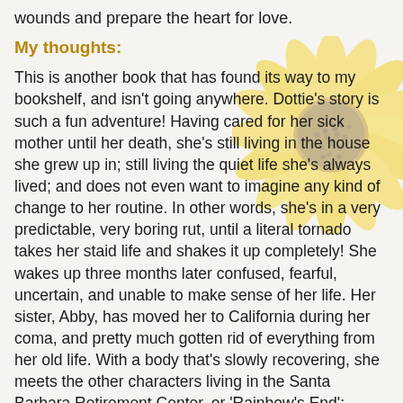wounds and prepare the heart for love.
My thoughts:
This is another book that has found its way to my bookshelf, and isn't going anywhere. Dottie's story is such a fun adventure! Having cared for her sick mother until her death, she's still living in the house she grew up in; still living the quiet life she's always lived; and does not even want to imagine any kind of change to her routine. In other words, she's in a very predictable, very boring rut, until a literal tornado takes her staid life and shakes it up completely! She wakes up three months later confused, fearful, uncertain, and unable to make sense of her life. Her sister, Abby, has moved her to California during her coma, and pretty much gotten rid of everything from her old life. With a body that's slowly recovering, she meets the other characters living in the Santa Barbara Retirement Center, or 'Rainbow's End'; Maybelle (a four foot tall retired carnival worker), and Sophia (battled breast cancer, now her chest tends to get lopsided). Finally reunited with Otto, her faithful dog, she discovers that sometime during her coma, her long lost father has visited